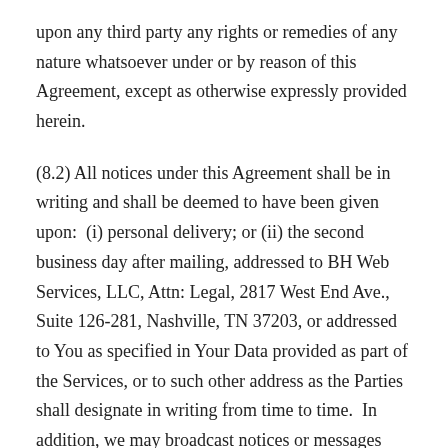upon any third party any rights or remedies of any nature whatsoever under or by reason of this Agreement, except as otherwise expressly provided herein.
(8.2) All notices under this Agreement shall be in writing and shall be deemed to have been given upon: (i) personal delivery; or (ii) the second business day after mailing, addressed to BH Web Services, LLC, Attn: Legal, 2817 West End Ave., Suite 126-281, Nashville, TN 37203, or addressed to You as specified in Your Data provided as part of the Services, or to such other address as the Parties shall designate in writing from time to time. In addition, we may broadcast notices or messages through the Services to inform you of changes to the Services or other matters of